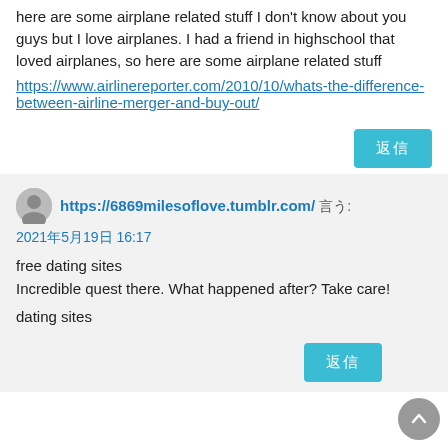here are some airplane related stuff I don't know about you guys but I love airplanes. I had a friend in highschool that loved airplanes, so here are some airplane related stuff
https://www.airlinereporter.com/2010/10/whats-the-difference-between-airline-merger-and-buy-out/
返信
https://6869milesoflove.tumblr.com/ 言う:
2021年5月19日 16:17
free dating sites
Incredible quest there. What happened after? Take care!

dating sites
返信